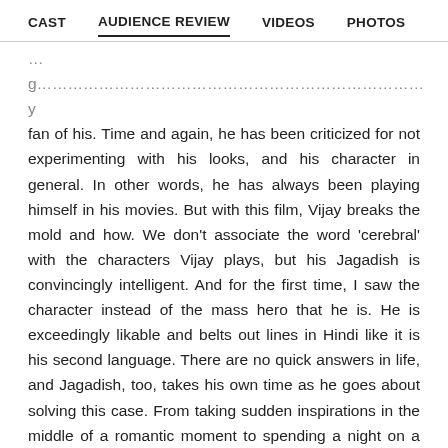CAST   AUDIENCE REVIEW   VIDEOS   PHOTOS
fan of his. Time and again, he has been criticized for not experimenting with his looks, and his character in general. In other words, he has always been playing himself in his movies. But with this film, Vijay breaks the mold and how. We don't associate the word 'cerebral' with the characters Vijay plays, but his Jagadish is convincingly intelligent. And for the first time, I saw the character instead of the mass hero that he is. He is exceedingly likable and belts out lines in Hindi like it is his second language. There are no quick answers in life, and Jagadish, too, takes his own time as he goes about solving this case. From taking sudden inspirations in the middle of a romantic moment to spending a night on a bench near Marine Drive, it is these elements that make his intelligence seem all the more believable.